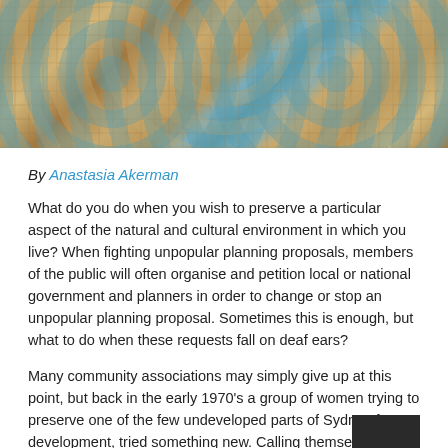[Figure (photo): Decorative ornamental ceiling or tile pattern with blue-grey floral/geometric motifs on a golden-brown background, Arabic or Moorish style.]
By Anastasia Akerman
What do you do when you wish to preserve a particular aspect of the natural and cultural environment in which you live? When fighting unpopular planning proposals, members of the public will often organise and petition local or national government and planners in order to change or stop an unpopular planning proposal. Sometimes this is enough, but what to do when these requests fall on deaf ears?
Many community associations may simply give up at this point, but back in the early 1970's a group of women trying to preserve one of the few undeveloped parts of Sydney from development, tried something new. Calling themselves The Battlers for Kellys Bush they contacted a construction